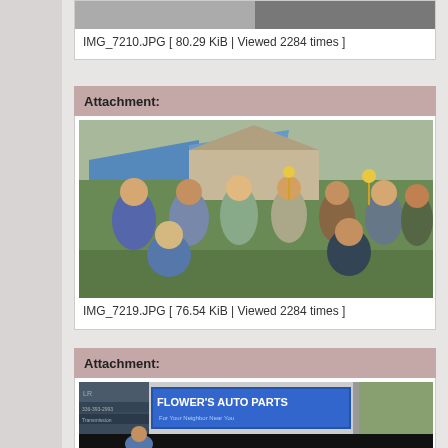[Figure (photo): Partial photo visible at top of page, cut off]
IMG_7210.JPG [ 80.29 KiB | Viewed 2284 times ]
Attachment:
[Figure (photo): Group photo of approximately 11 people standing and kneeling outdoors, holding trophies, with a blue tent and green grass/trees in background]
IMG_7219.JPG [ 76.54 KiB | Viewed 2284 times ]
Attachment:
[Figure (photo): Photo showing a banner/sign reading FLOWER'S AUTO PARTS and partial text NER'S and other signage, with a person visible below]